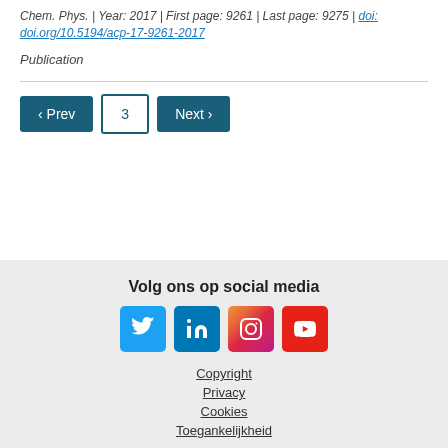Chem. Phys. | Year: 2017 | First page: 9261 | Last page: 9275 | doi: doi.org/10.5194/acp-17-9261-2017
Publication
‹ Prev   3   Next ›
Volg ons op social media | Copyright | Privacy | Cookies | Toegankelijkheid